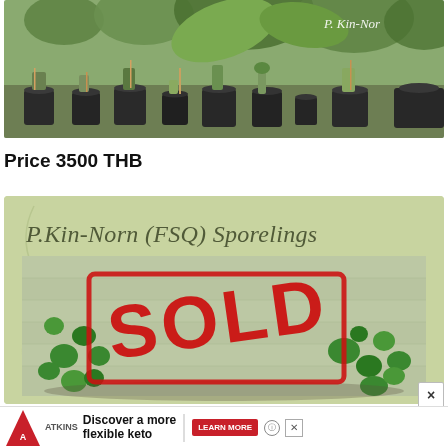[Figure (photo): Photo of multiple potted plants in dark pots arranged in a nursery setting with a watermark reading 'P. Kin-Norn' in the upper right corner.]
Price 3500 THB
[Figure (photo): Product card with light green background showing cursive text 'P.Kin-Norn (FSQ) Sporelings' above a photo of small round-leafed plant sporelings growing on a wooden board, overlaid with a large red 'SOLD' stamp.]
[Figure (photo): Advertisement banner for Atkins diet product. Text reads 'Discover a more flexible keto' with a 'LEARN MORE' button. Atkins triangle logo on the left and a food photo on the right.]